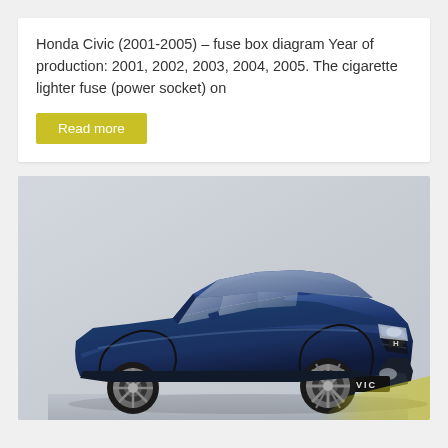Honda Civic (2001-2005) – fuse box diagram Year of production: 2001, 2002, 2003, 2004, 2005. The cigarette lighter fuse (power socket) on
Read more
[Figure (photo): Photo of a blue Honda Civic hatchback viewed from the front-left angle on a light grey gradient background. The car has a CIVIC badge on the front bumper.]